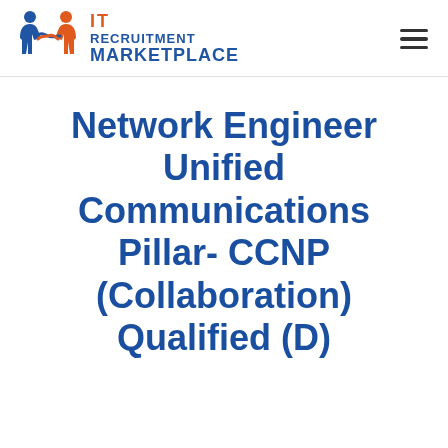[Figure (logo): IT Recruitment Marketplace logo: two figures shaking hands (blue and orange silhouettes) beside the text 'IT RECRUITMENT MARKETPLACE' in blue and orange]
Network Engineer Unified Communications Pillar- CCNP (Collaboration) Qualified (D)